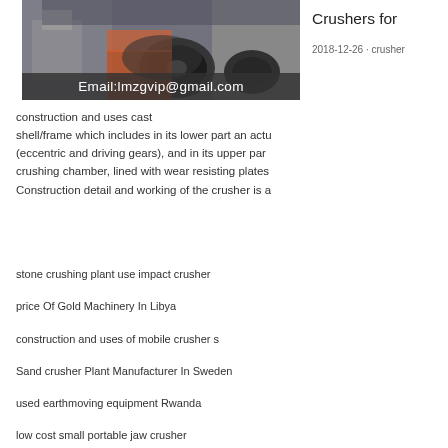[Figure (photo): Industrial crusher machine in a factory setting]
Email:lmzgvip@gmail.com
Crushers for
2018-12-26 · crusher
[Figure (other): 24/7 Online chat widget with customer service representative photo, 'Have any requests, click here.' message, and Quotation button]
construction and uses cast shell/frame which includes in its lower part an actu (eccentric and driving gears), and in its upper par crushing chamber, lined with wear resisting plates Construction detail and working of the crusher is a
stone crushing plant use impact crusher
price Of Gold Machinery In Libya
construction and uses of mobile crusher s
Sand crusher Plant Manufacturer In Sweden
used earthmoving equipment Rwanda
low cost small portable jaw crusher